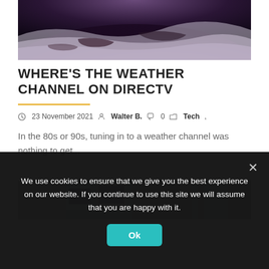[Figure (photo): Aerial/satellite view of Earth showing clouds and surface, dark space at top, purple-toned]
WHERE'S THE WEATHER CHANNEL ON DIRECTV
23 November 2021  Walter B.  0  Tech,
In the 80s or 90s, tuning in to a weather channel was nothing to get...
[Figure (photo): Blurred office/workspace scene with monitors and people]
We use cookies to ensure that we give you the best experience on our website. If you continue to use this site we will assume that you are happy with it.